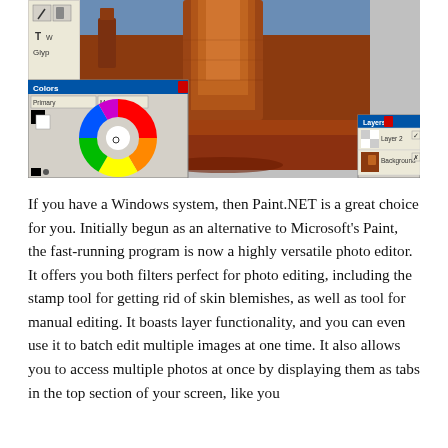[Figure (screenshot): Screenshot of Paint.NET application showing a desert landscape photo (Monument Valley) being edited, with a Colors panel (showing a color wheel with rainbow hues), a toolbox panel on the left, and a Layers panel on the right showing two layers: 'Layer 2' and 'Background'.]
If you have a Windows system, then Paint.NET is a great choice for you. Initially begun as an alternative to Microsoft's Paint, the fast-running program is now a highly versatile photo editor. It offers you both filters perfect for photo editing, including the stamp tool for getting rid of skin blemishes, as well as tool for manual editing. It boasts layer functionality, and you can even use it to batch edit multiple images at one time. It also allows you to access multiple photos at once by displaying them as tabs in the top section of your screen, like you